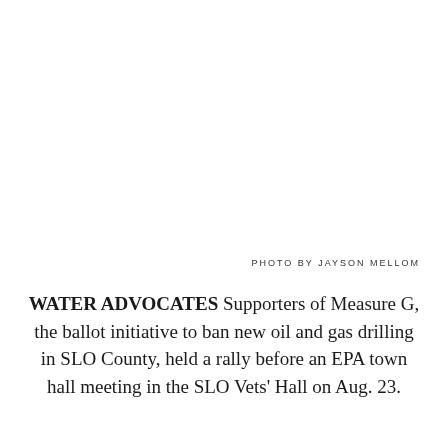PHOTO BY JAYSON MELLOM
WATER ADVOCATES Supporters of Measure G, the ballot initiative to ban new oil and gas drilling in SLO County, held a rally before an EPA town hall meeting in the SLO Vets' Hall on Aug. 23.